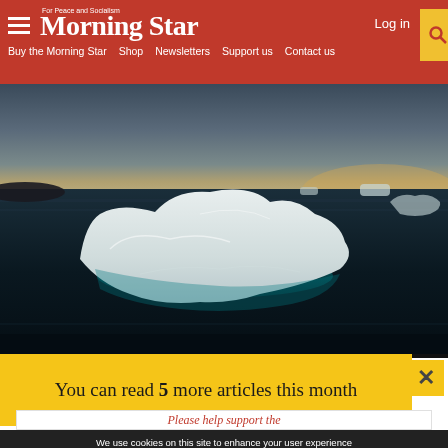Morning Star — For Peace and Socialism
Buy the Morning Star  Shop  Newsletters  Support us  Contact us
[Figure (photo): Aerial view of a large iceberg floating in dark polar ocean water with overcast sky, teal water visible beneath the ice.]
You can read 5 more articles this month
Please help support the
We use cookies on this site to enhance your user experience By clicking any link on this page you are giving your consent for us to set cookies.